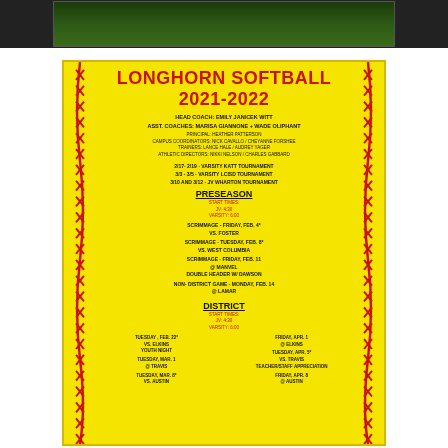[Figure (photo): Top portion of a photo showing a softball field with green grass and dark background]
LONGHORN SOFTBALL 2021-2022
HEAD COACH: EMILY JANICEK WITT
ASST. COACHES: MARISA GIANNONE + WADE OLIPHANT
PRINCIPAL: HEATHER PATTERSON
CAMPUS COORDINATORS: NICK CAVALLO / CHEYANNE FORSHEE
TRAINERS: LANCE HALE / AUDREY YAGER
ATHLETIC DIRECTORS: NIKKI NELSON / CHARLES GABBARD
2/17- 2/19 - VARSITY KATT TOURNAMENT
3/3 - 3/5 - VARSITY LCISD TOURNAMENT
3/10 AND 3/12 - JV WHARTON TOURNAMENT
PRESEASON
START TIMES:
JV: 4:30
VARSITY: 6:00
SCRIMMAGE - FRIDAY, FEB. 4*
VS. FOSTER
SCRIMMAGE - TUESDAY, FEB. 8*
VS. WEST COLUMBIA
SCRIMMAGE - FRIDAY, FEB. 11
@ MANVEL
DOUBLE HEADER W/ DAWSON
NON- DISTRICT GAME - MONDAY, FEB. 14
@ LAMAR
DISTRICT
START TIMES:
JV: 4:30
VARSITY: 6:00
TUESDAY, FEB. 22*
VS. ELKINS
YOUTH NIGHT
FRIDAY, APR. 1
@ ELKINS
TUESDAY, MAR. 1
@ TRAVIS
TUESDAY, APR. 5*
VS. TRAVIS
TEACHER/STAFF APPRECIATION
TUESDAY, MAR. 8*
VS. AUSTIN
FRIDAY, APR. 8
@ AUSTIN